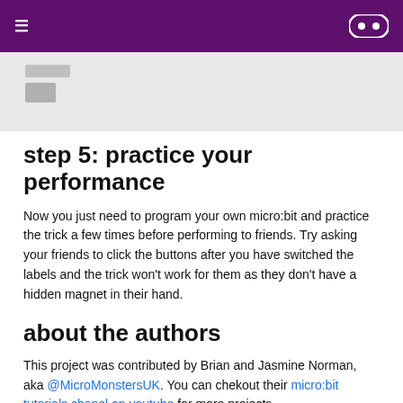≡  [micro:bit logo]
[Figure (screenshot): Partial screenshot of a tutorial page with grey background, showing placeholder image rectangles]
step 5: practice your performance
Now you just need to program your own micro:bit and practice the trick a few times before performing to friends. Try asking your friends to click the buttons after you have switched the labels and the trick won't work for them as they don't have a hidden magnet in their hand.
about the authors
This project was contributed by Brian and Jasmine Norman, aka @MicroMonstersUK. You can chekout their micro:bit tutorials chanel on youtube for more projects.